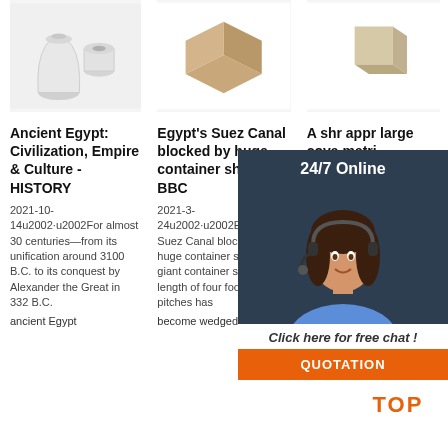[Figure (photo): Product image: two white ceramic/plaster cylindrical objects]
[Figure (photo): Product image: beige/tan rectangular brick or block shape]
[Figure (photo): Product image: beige square cube-shaped block]
Ancient Egypt: Civilization, Empire & Culture - HISTORY
Egypt's Suez Canal blocked by huge container ship - BBC
A shr appr large cova matri
2021-10-14u2002·u2002For almost 30 centuries—from its unification around 3100 B.C. to its conquest by Alexander the Great in 332 B.C. ancient Egypt
2021-3-24u2002·u2002Egypt's Suez Canal blocked by huge container ship. A giant container ship the length of four football pitches has become wedged
Inferring scale of matrices sparse genomic data is an ubiquitous problem in bioinformatics. Clearly, the widely used standard
[Figure (photo): 24/7 Online chat widget with female agent wearing headset, with Click here for free chat and QUOTATION button]
[Figure (logo): TOP logo with orange dots triangle above text TOP in orange]